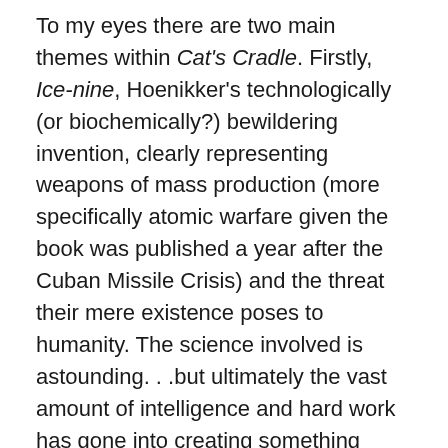To my eyes there are two main themes within Cat's Cradle. Firstly, Ice-nine, Hoenikker's technologically (or biochemically?) bewildering invention, clearly representing weapons of mass production (more specifically atomic warfare given the book was published a year after the Cuban Missile Crisis) and the threat their mere existence poses to humanity. The science involved is astounding. . .but ultimately the vast amount of intelligence and hard work has gone into creating something primarily to kill. And as is shown, accidents can happen – it doesn't necessarily take an evil madman to destroy the world. What is somewhat amusing in the book, but terrifying in reality, is how easily this ensemble of inadequate and flawed characters have access to a doomsday device that can end humanity. We see how recklessly the Hoenikker children use it to get their wants. Angela, for example,